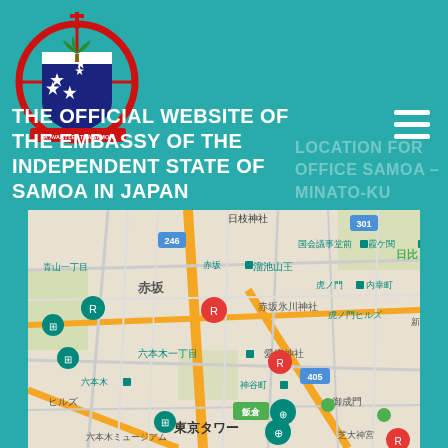[Figure (logo): Coat of arms of Samoa - shield with stars and palm tree, red circular ring, cross on top, banner reading FA'AVAE I LE ATUA SAMOA]
THE OFFICIAL WEBSITE OF THE EMBASSY OF THE INDEPENDENT STATE OF SAMOA IN JAPAN
LOCATION FOR OFFICE SAMOA – MINATO-KU
[Figure (map): Google Maps view of Minato-ku area in Tokyo, Japan, showing streets and landmarks including 赤坂 (Akasaka), 六本木 (Roppongi), 東京タワー (Tokyo Tower), 溜池山王, 虎ノ門, 神谷町, 御成門, 芝大神宮, 愛宕神社, 赤坂氷川神社, 日枝神社, 国会議事堂前, 霞ケ関, 内幸町, 虎ノ門ヒルズ, 六本木ミュージアム, 飯倉, 六本木一丁目, 青山一丁目, 日比 area visible]